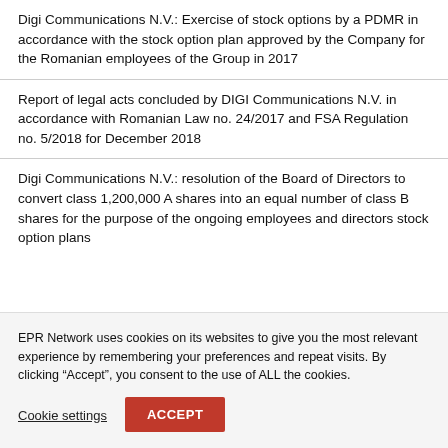Digi Communications N.V.: Exercise of stock options by a PDMR in accordance with the stock option plan approved by the Company for the Romanian employees of the Group in 2017
Report of legal acts concluded by DIGI Communications N.V. in accordance with Romanian Law no. 24/2017 and FSA Regulation no. 5/2018 for December 2018
Digi Communications N.V.: resolution of the Board of Directors to convert class 1,200,000 A shares into an equal number of class B shares for the purpose of the ongoing employees and directors stock option plans
EPR Network uses cookies on its websites to give you the most relevant experience by remembering your preferences and repeat visits. By clicking “Accept”, you consent to the use of ALL the cookies.